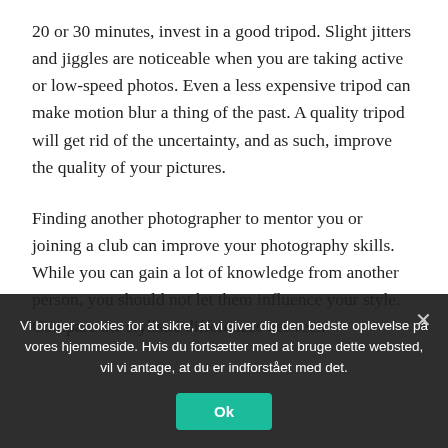20 or 30 minutes, invest in a good tripod. Slight jitters and jiggles are noticeable when you are taking active or low-speed photos. Even a less expensive tripod can make motion blur a thing of the past. A quality tripod will get rid of the uncertainty, and as such, improve the quality of your pictures.
Finding another photographer to mentor you or joining a club can improve your photography skills. While you can gain a lot of knowledge from another person, you should not let them influence your style. Compare the stylistic differences between
Vi bruger cookies for at sikre, at vi giver dig den bedste oplevelse på vores hjemmeside. Hvis du fortsætter med at bruge dette websted, vil vi antage, at du er indforstået med det.